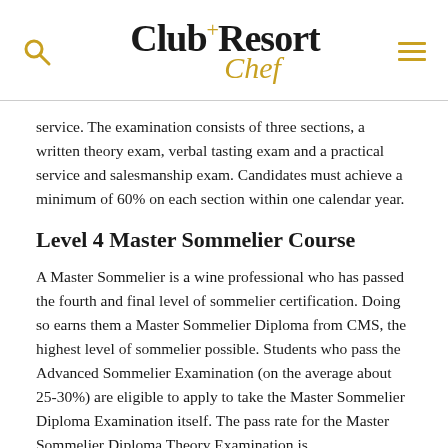Club+Resort Chef (logo header with search and menu icons)
service. The examination consists of three sections, a written theory exam, verbal tasting exam and a practical service and salesmanship exam. Candidates must achieve a minimum of 60% on each section within one calendar year.
Level 4 Master Sommelier Course
A Master Sommelier is a wine professional who has passed the fourth and final level of sommelier certification. Doing so earns them a Master Sommelier Diploma from CMS, the highest level of sommelier possible. Students who pass the Advanced Sommelier Examination (on the average about 25-30%) are eligible to apply to take the Master Sommelier Diploma Examination itself. The pass rate for the Master Sommelier Diploma Theory Examination is